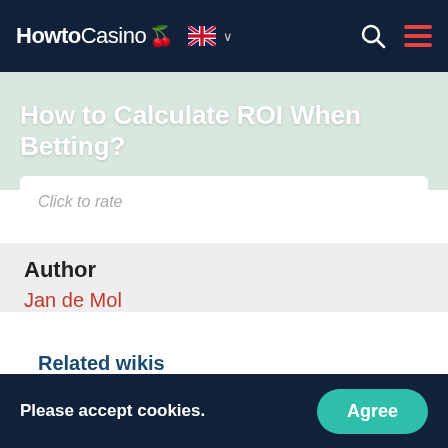HowtoCasino
How to Calculate ROI When Betting?
Click to rate
Author
Jan de Mol
Related wikis
Please accept cookies.